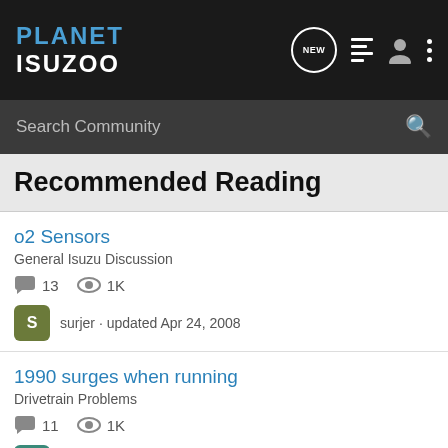PLANET ISUZOO
Search Community
Recommended Reading
o2 Sensors
General Isuzu Discussion
13 comments · 1K views
surjer · updated Apr 24, 2008
1990 surges when running
Drivetrain Problems
11 comments · 1K views
blairbo · updated Jul 9, 2017